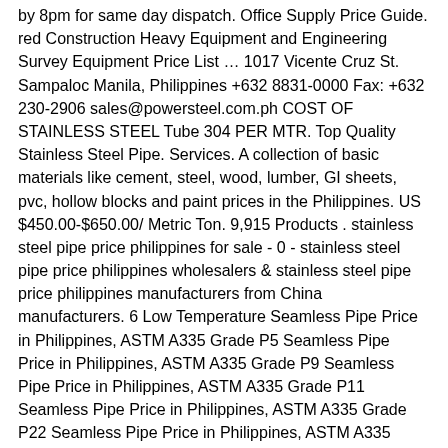by 8pm for same day dispatch. Office Supply Price Guide. red Construction Heavy Equipment and Engineering Survey Equipment Price List … 1017 Vicente Cruz St. Sampaloc Manila, Philippines +632 8831-0000 Fax: +632 230-2906 sales@powersteel.com.ph COST OF STAINLESS STEEL Tube 304 PER MTR. Top Quality Stainless Steel Pipe. Services. A collection of basic materials like cement, steel, wood, lumber, GI sheets, pvc, hollow blocks and paint prices in the Philippines. US $450.00-$650.00/ Metric Ton. 9,915 Products . stainless steel pipe price philippines for sale - 0 - stainless steel pipe price philippines wholesalers & stainless steel pipe price philippines manufacturers from China manufacturers. 6 Low Temperature Seamless Pipe Price in Philippines, ASTM A335 Grade P5 Seamless Pipe Price in Philippines, ASTM A335 Grade P9 Seamless Pipe Price in Philippines, ASTM A335 Grade P11 Seamless Pipe Price in Philippines, ASTM A335 Grade P22 Seamless Pipe Price in Philippines, ASTM A335 Grade P91 Seamless Pipe Price in Philippines, API 5L Gr.X42 Seamless Pipe Price in Philippines, API 5L Gr.X46 Seamless Pipe Price in Philippines, API 5L Gr.X52 Seamless Pipe  Price in Philippines, API 5L Gr.X56 Seamless Pipe Price in Philippines, API 5L Gr.X60 Seamless Pipe Price in Philippines, API 5L Gr.X65 Seamless Pipe Price in Philippines, API 5L Gr.B ERW/ Welded Pipe Price in Philippines, API 5L Gr.X42 ERW/ Welded Pipe Price in Philippines, API 5L Gr.X46 ERW/ Welded Pipe Price in Philippines, API 5L Gr.X52 ERW/